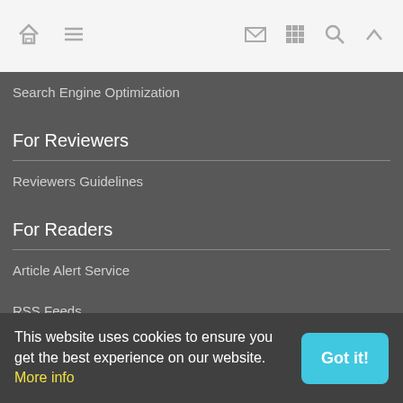[Navigation bar with home, menu, email, grid, search, and up icons]
Search Engine Optimization
For Reviewers
Reviewers Guidelines
For Readers
Article Alert Service
RSS Feeds
SISEF Publishing
This website uses cookies to ensure you get the best experience on our website. More info